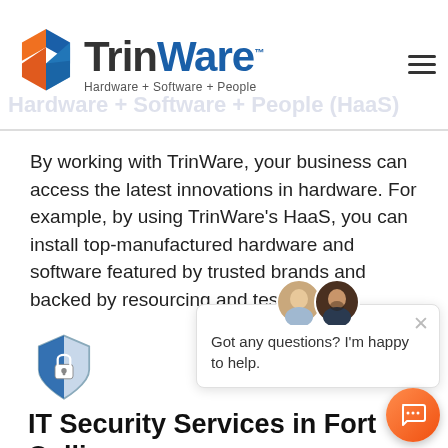[Figure (logo): TrinWare logo with puzzle-piece shield icon in blue, orange, red and the text TrinWare with tagline Hardware + Software + People]
Hardware + Software + People (HaaS)
By working with TrinWare, your business can access the latest innovations in hardware. For example, by using TrinWare's HaaS, you can install top-manufactured hardware and software featured by trusted brands and backed by resourcing and testing.
[Figure (illustration): Shield icon with padlock, blue and grey tones]
[Figure (screenshot): Chat popup widget with two avatar photos, a close X button, and the message: Got any questions? I'm happy to help.]
IT Security Services in Fort Collins
Keep your business secure using TrinWare's proactive IT security services, each of which is
[Figure (illustration): Orange circular chat FAB button with chat bubble icon]